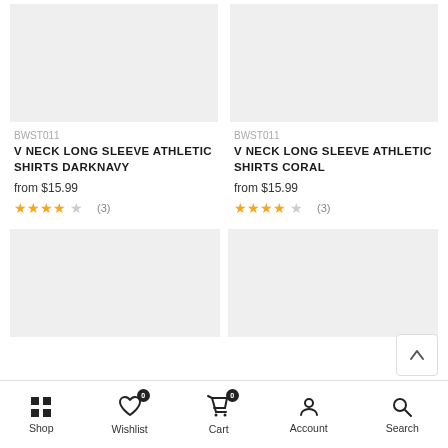[Figure (photo): Product image placeholder for V Neck Long Sleeve Athletic Shirts Darknavy]
[Figure (photo): Product image placeholder for V Neck Long Sleeve Athletic Shirts Coral]
BWST011
V NECK LONG SLEEVE ATHLETIC SHIRTS DARKNAVY
from $15.99
★★★★☆ (3)
BWST011
V NECK LONG SLEEVE ATHLETIC SHIRTS CORAL
from $15.99
★★★★☆ (3)
[Figure (photo): Second product image placeholder left]
[Figure (photo): Second product image placeholder right]
Shop | Wishlist 0 | Cart 0 | Account | Search